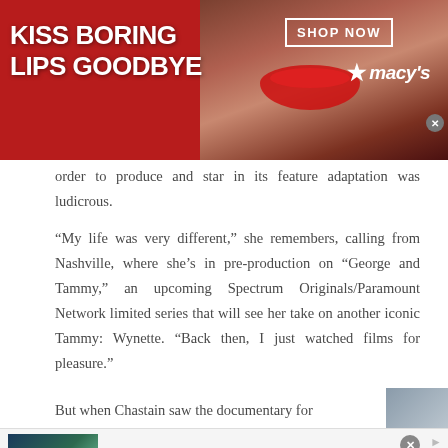[Figure (illustration): Macy's advertisement banner showing 'KISS BORING LIPS GOODBYE' with a model's face with red lips, SHOP NOW button, and Macy's star logo on red background]
order to produce and star in its feature adaptation was ludicrous.
“My life was very different,” she remembers, calling from Nashville, where she’s in pre-production on “George and Tammy,” an upcoming Spectrum Originals/Paramount Network limited series that will see her take on another iconic Tammy: Wynette. “Back then, I just watched films for pleasure.”
But when Chastain saw the documentary for
[Figure (illustration): Kohl's advertisement banner: 'Up to 60% off Clothing at Kohl’s - Save up to 60% on clothing and homeware at Kohl's.com - kohls.com' with blue arrow button]